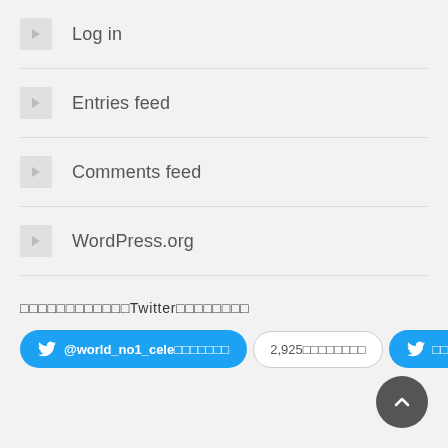Log in
Entries feed
Comments feed
WordPress.org
□□□□□□□□□□□□Twitter□□□□□□□□
[Figure (other): Twitter follow button showing @world_no1_cele□□□□□□□, follower count 2,925□□□□□□□□, and a share/tweet button]
[Figure (other): Back to top circular button with upward chevron arrow]